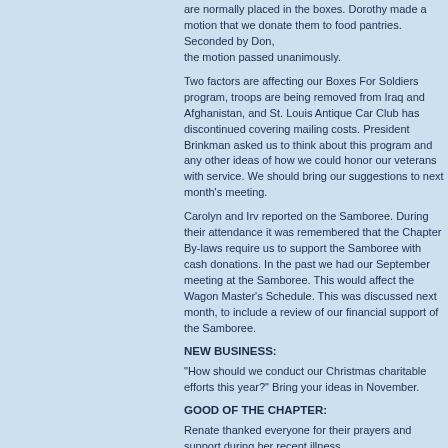are normally placed in the boxes. Dorothy made a motion that we donate them to pantries. Seconded by Don, the motion passed unanimously.
Two factors are affecting our Boxes For Soldiers program, troops are being removed from Iraq and Afghanistan, and St. Louis Antique Car Club has discontinued covering mailing costs. President Brinkman asked us to think about this program and any other ideas of how we could honor our veterans with service. We should bring our suggestions to next month's meeting.
Carolyn and Irv reported on the Samboree. During their attendance it was remembered that the Chapter By-laws require us to support the Samboree with cash donations. In the past we had our September meeting at the Samboree. This would affect the Wagon Master's Schedule. This was discussed next month, to include a review of our financial support of the Samboree.
NEW BUSINESS:
"How should we conduct our Christmas charitable efforts this year?" Bring your ideas in November.
GOOD OF THE CHAPTER:
Renate thanked everyone for their prayers and support during her recent illness.
Thank you Jim and Phyllis for the excellent choice of RV park, the fantastic dinner at the Abby and the wonderful entertainment.
A motion to adjourn was made by Jack. Seconded by Jane, the motion carried and the meeting adjourned at 10:39 AM.